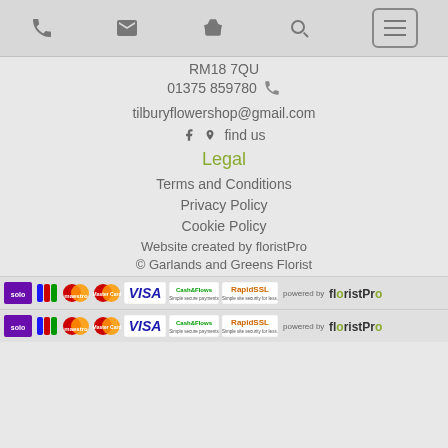Navigation icons: phone, email, basket, search, menu
RM18 7QU
01375 859780
tilburyflowershop@gmail.com
f  find us
Legal
Terms and Conditions
Privacy Policy
Cookie Policy
Website created by floristPro
© Garlands and Greens Florist
[Figure (logo): Payment method logos strip: Solo, JCB, Maestro, MasterCard, VISA, Cash Flows, RapidSSL, powered by floristPro]
[Figure (logo): Payment method logos strip (repeated): Solo, JCB, Maestro, MasterCard, VISA, Cash Flows, RapidSSL, powered by floristPro]